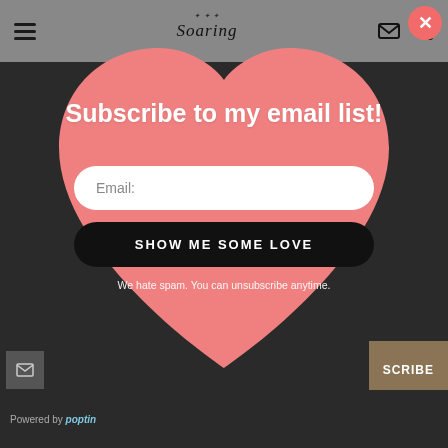[Figure (screenshot): Website popup overlay with heart shape containing email subscription form. Background shows dark gray website with top navigation bar (hamburger menu, 'Soaring' logo, envelope and share icons). A pink heart-shaped popup contains 'Subscribe to my email list!' heading, an email input field, a black 'SHOW ME SOME LOVE' button, and spam disclaimer text. A pink close button (X) appears at top right. Bottom shows subscribe bar and social sharing circles.]
Subscribe to my email list!
Email:
SHOW ME SOME LOVE
We hate spam. You can unsubscribe anytime.
Powered by poptin